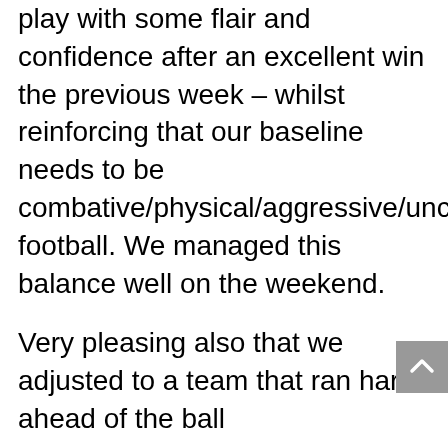play with some flair and confidence after an excellent win the previous week – whilst reinforcing that our baseline needs to be combative/physical/aggressive/uncompromising football. We managed this balance well on the weekend.
Very pleasing also that we adjusted to a team that ran hard ahead of the ball
BEST: Ryan, Karvellas, Fernandez, Nikitas, Joyce, Docherty, Roberts, Morganthaler, Fogarty, Cotchett